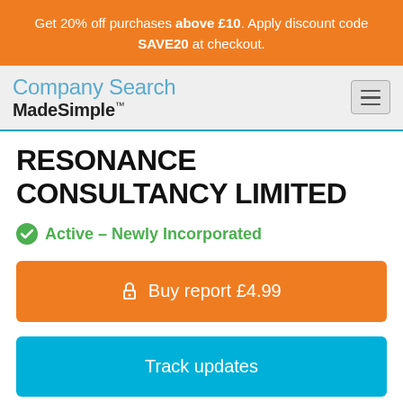Get 20% off purchases above £10. Apply discount code SAVE20 at checkout.
Company Search MadeSimple™
RESONANCE CONSULTANCY LIMITED
Active – Newly Incorporated
🔒 Buy report £4.99
Track updates